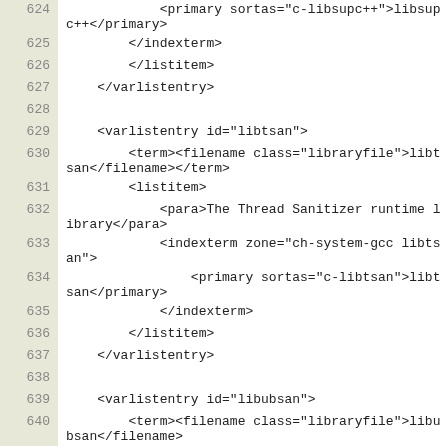Code listing lines 624-640 showing XML markup for libsupc++, libtsan, and libubsan varlistentry elements
624:             <primary sortas="c-libsupc++">libsupc++</primary>
625:         </indexterm>
626:         </listitem>
627:     </varlistentry>
628: (empty)
629:     <varlistentry id="libtsan">
630:         <term><filename class="libraryfile">libtsan</filename></term>
631:         <listitem>
632:             <para>The Thread Sanitizer runtime library</para>
633:             <indexterm zone="ch-system-gcc libtsan">
634:                 <primary sortas="c-libtsan">libtsan</primary>
635:             </indexterm>
636:         </listitem>
637:     </varlistentry>
638: (empty)
639:     <varlistentry id="libubsan">
640:         <term><filename class="libraryfile">libubsan</filename>